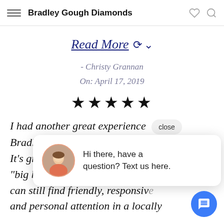Bradley Gough Diamonds
Read More ∨
- Christy Grannan
On: April 17, 2019
[Figure (other): Five black star rating icons]
I had another great experience [close] Bradl...
It's gre...
"big box" and online shopping, one
can still find friendly, responsiv...
and personal attention in a locally
[Figure (other): Chat widget bubble with avatar of a woman and text: Hi there, have a question? Text us here.]
[Figure (other): Blue circular chat FAB button with message icon]